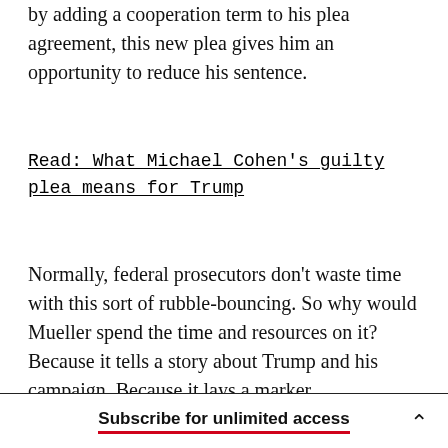by adding a cooperation term to his plea agreement, this new plea gives him an opportunity to reduce his sentence.
Read: What Michael Cohen's guilty plea means for Trump
Normally, federal prosecutors don't waste time with this sort of rubble-bouncing. So why would Mueller spend the time and resources on it? Because it tells a story about Trump and his campaign. Because it lays a marker.
Subscribe for unlimited access